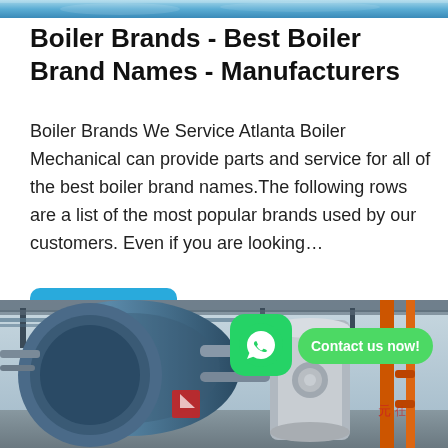[Figure (photo): Top portion of a boiler or industrial equipment image, partially visible at the top of the page]
Boiler Brands - Best Boiler Brand Names - Manufacturers
Boiler Brands We Service Atlanta Boiler Mechanical can provide parts and service for all of the best boiler brand names.The following rows are a list of the most popular brands used by our customers. Even if you are looking…
[Figure (other): Blue rounded rectangle button labeled 'Get Price']
[Figure (photo): Industrial boiler room with large blue/grey boilers, overhead pipes, orange pipes on the right. A WhatsApp icon button and 'Contact us now!' green bubble are overlaid on the image.]